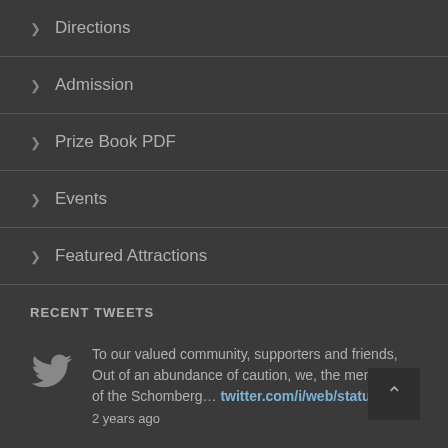Directions
Admission
Prize Book PDF
Events
Featured Attractions
RECENT TWEETS
To our valued community, supporters and friends, Out of an abundance of caution, we, the members of the Schomberg… twitter.com/i/web/status/1.
2 years ago